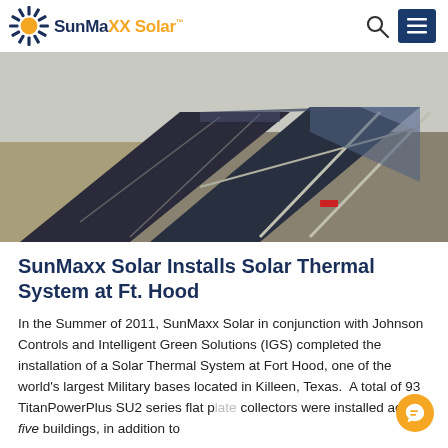SunMaxx Solar™
[Figure (photo): Solar thermal flat plate collectors installed on a rooftop at Fort Hood, angled upward on a gravel roof with metal racking supports.]
SunMaxx Solar Installs Solar Thermal System at Ft. Hood
In the Summer of 2011, SunMaxx Solar in conjunction with Johnson Controls and Intelligent Green Solutions (IGS) completed the installation of a Solar Thermal System at Fort Hood, one of the world's largest Military bases located in Killeen, Texas.  A total of 93 TitanPowerPlus SU2 series flat plate collectors were installed across five buildings, in addition to